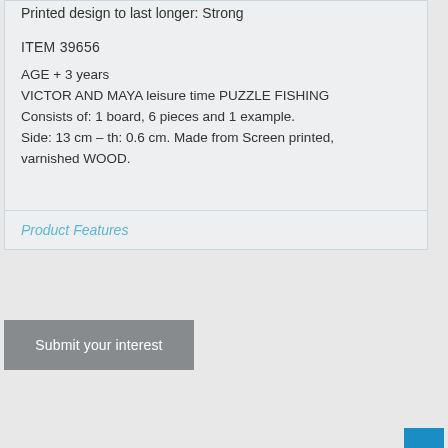Printed design to last longer: Strong
ITEM 39656
AGE + 3 years
VICTOR AND MAYA leisure time PUZZLE FISHING
Consists of: 1 board, 6 pieces and 1 example.
Side: 13 cm – th: 0.6 cm. Made from Screen printed, varnished WOOD.
Product Features
Submit your interest
[Figure (photo): Wooden puzzle board with blue sky and cloud pieces — the PUZZLE FISHING product photo, partially visible at bottom of page]